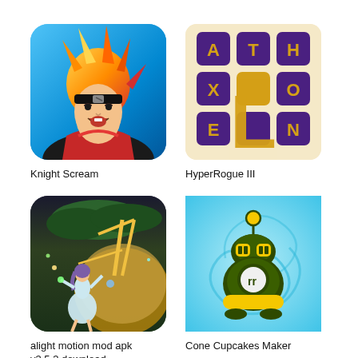[Figure (screenshot): App icon for Knight Scream: anime ninja character with orange hair and headband, mouth open, on blue background]
Knight Scream
[Figure (screenshot): App icon for HyperRogue III: purple tile grid with golden letter tiles spelling A, T, H, X, L, O, E, N on cream background]
HyperRogue III
[Figure (screenshot): App icon for alight motion mod apk v3.5.3 download: fairy girl in white dress with bow and arrow, dark forest background with large mushroom]
alight motion mod apk
v3.5.3 download
[Figure (screenshot): App icon for Cone Cupcakes Maker: cartoon bee robot with yellow body and dark green outline on light blue swirl background]
Cone Cupcakes Maker